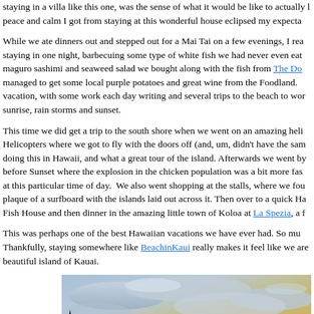staying in a villa like this one, was the sense of what it would be like to actually live here. The peace and calm I got from staying at this wonderful house eclipsed my expecta...
While we ate dinners out and stepped out for a Mai Tai on a few evenings, I really loved staying in one night, barbecuing some type of white fish we had never even eaten before, maguro sashimi and seaweed salad we bought along with the fish from The Do... managed to get some local purple potatoes and great wine from the Foodland. vacation, with some work each day writing and several trips to the beach to wor... sunrise, rain storms and sunset.
This time we did get a trip to the south shore when we went on an amazing heli... Helicopters where we got to fly with the doors off (and, um, didn't have the sam... doing this in Hawaii, and what a great tour of the island. Afterwards we went by... before Sunset where the explosion in the chicken population was a bit more fas... at this particular time of day. We also went shopping at the stalls, where we fou... plaque of a surfboard with the islands laid out across it. Then over to a quick Ha... Fish House and then dinner in the amazing little town of Koloa at La Spezia, a f...
This was perhaps one of the best Hawaiian vacations we have ever had. So mu... Thankfully, staying somewhere like BeachinKaui really makes it feel like we are... beautiful island of Kauai.
[Figure (photo): A sky photograph showing sunset or sunrise colors with golden and amber clouds against a blue-grey sky, with dark tree silhouettes in the lower left corner.]